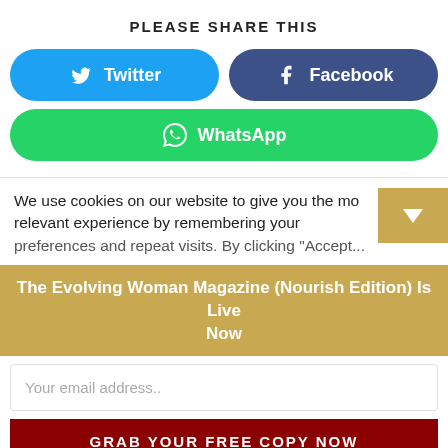PLEASE SHARE THIS
[Figure (infographic): Social share buttons: Twitter (blue pill button), Facebook (dark blue pill button), WhatsApp (green pill button)]
We use cookies on our website to give you the most relevant experience by remembering your preferences and repeat visits. By clicking "Accept"...
The Evolving Woman Magazine (Nourish Edition) Is Live Now
Your email address..
GRAB YOUR FREE COPY NOW